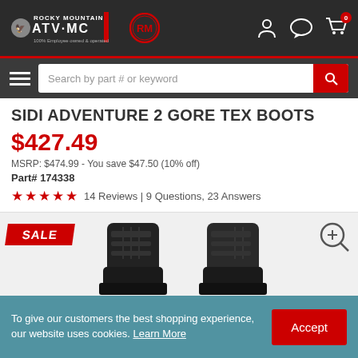Rocky Mountain ATV MC - 100% Employee owned & operated
SIDI ADVENTURE 2 GORE TEX BOOTS
$427.49
MSRP: $474.99 - You save $47.50 (10% off)
Part# 174338
★★★★★ 14 Reviews | 9 Questions, 23 Answers
[Figure (photo): Product photo of Sidi Adventure 2 Gore-Tex Boots (black), two boots shown side by side, with a SALE badge in the top left corner and a zoom icon in the top right corner.]
To give our customers the best shopping experience, our website uses cookies. Learn More